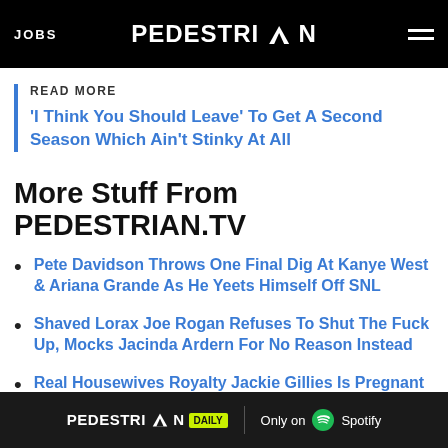JOBS | PEDESTRIAN | menu
READ MORE
'I Think You Should Leave' To Get A Second Season Which Ain't Stinky At All
More Stuff From PEDESTRIAN.TV
Pete Davidson Throws One Final Dig At Kanye West & Ariana Grande As He Yeets Himself Off SNL
Shaved Lorax Joe Rogan Refuses To Shut The Fuck Up, Mocks Jacinda Ardern For No Reason Instead
Real Housewives Royalty Jackie Gillies Is Pregnant With
PEDESTRIAN DAILY — Only on Spotify